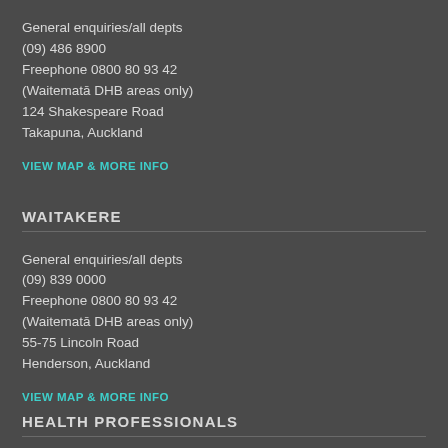General enquiries/all depts
(09) 486 8900
Freephone 0800 80 93 42
(Waitematā DHB areas only)
124 Shakespeare Road
Takapuna, Auckland
VIEW MAP & MORE INFO
WAITAKERE
General enquiries/all depts
(09) 839 0000
Freephone 0800 80 93 42
(Waitematā DHB areas only)
55-75 Lincoln Road
Henderson, Auckland
VIEW MAP & MORE INFO
HEALTH PROFESSIONALS
AGED CARE
RESIDENTIAL AGED CARE INTEGRATION PROGRAMME (RACIP)